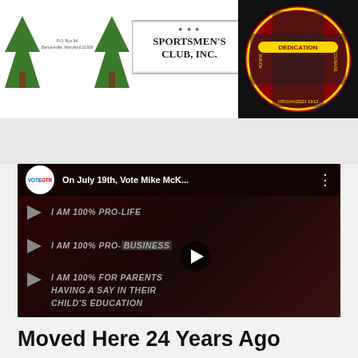[Figure (logo): Top section with tree logos, Sportsmen's Club Inc. logo, address text, and Allegany County Fire Department badge/seal on dark background]
[Figure (screenshot): YouTube video thumbnail showing 'On July 19th, Vote Mike McK...' with text overlays: 'I AM 100% PRO-LIFE', 'I AM 100% PRO-BUSINESS', 'I AM 100% FOR PARENTS HAVING A SAY IN THEIR CHILD'S EDUCATION'. Shows VOTEGTR channel icon and a man's face on the right.]
Moved Here 24 Years Ago